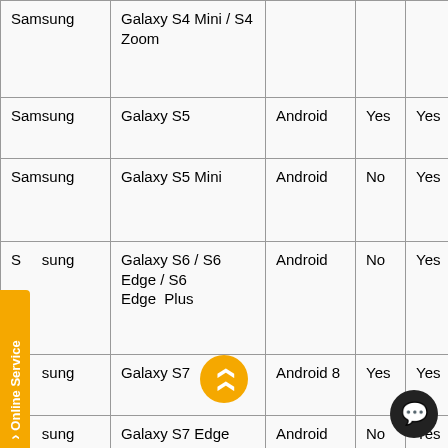| Brand | Model | OS | Col4 | Col5 |
| --- | --- | --- | --- | --- |
| Samsung | Galaxy S4 Mini / S4 Zoom |  |  |  |
| Samsung | Galaxy S5 | Android | Yes | Yes |
| Samsung | Galaxy S5 Mini | Android | No | Yes |
| Samsung | Galaxy S6 / S6 Edge / S6 Edge Plus | Android | No | Yes |
| Samsung | Galaxy S7 | Android 8 | Yes | Yes |
| Samsung | Galaxy S7 Edge | Android | No | Yes |
| Samsung | Galaxy S8 *** | Android 8 | Yes | Yes |
| Samsung | Galaxy S8+ | Android | No | Yes |